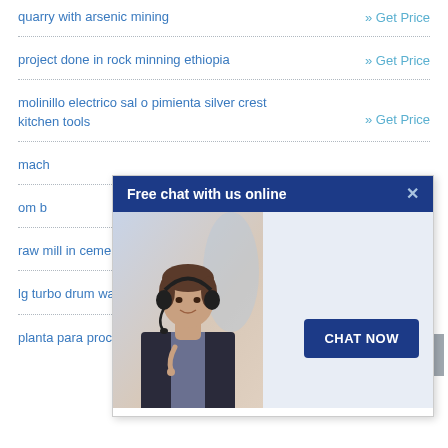quarry with arsenic mining
project done in rock minning ethiopia
molinillo electrico sal o pimienta silver crest kitchen tools
mach[ine partially obscured]
om b[ase partially obscured]
raw mill in cement plant
lg turbo drum washing machine 6.0 kg
planta para procesar y empacar nueces
[Figure (screenshot): Chat popup overlay with header 'Free chat with us online', close button (X), photo of a woman with headset, and a 'CHAT NOW' button]